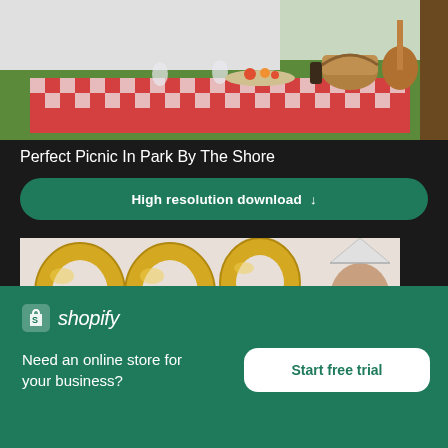[Figure (photo): Picnic scene with red checkered tablecloth, wine glasses, fruit plate, wicker basket with ukulele, against green grass background]
Perfect Picnic In Park By The Shore
High resolution download ↓
[Figure (photo): Person holding large gold foil balloon letters, wearing a party hat, mostly obscured by balloons]
[Figure (logo): Shopify logo — shopping bag icon with 'shopify' wordmark]
Need an online store for your business?
Start free trial